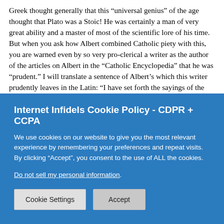Greek thought generally that this “universal genius” of the age thought that Plato was a Stoic! He was certainly a man of very great ability and a master of most of the scientific lore of his time. But when you ask how Albert combined Catholic piety with this, you are warned even by so very pro-clerical a writer as the author of the articles on Albert in the “Catholic Encyclopedia” that he was “prudent.” I will translate a sentence of Albert’s which this writer prudently leaves in the Latin: “I have set forth the sayings of the Peripatetics [Aristotelians] as well as I could; but no one can tell from my work what I myself think about natural philosophy.” So the noble Albert was never persecuted by the Church. It chose, rather, the wiser alternative of taking him from the cloister where he studied Aristotle and Averroes and giving him episcopal work which kept him out of
Internet Infidels Cookie Policy - CDPR + CCPA
We use cookies on our website to give you the most relevant experience by remembering your preferences and repeat visits. By clicking “Accept”, you consent to the use of ALL the cookies.
Do not sell my personal information.